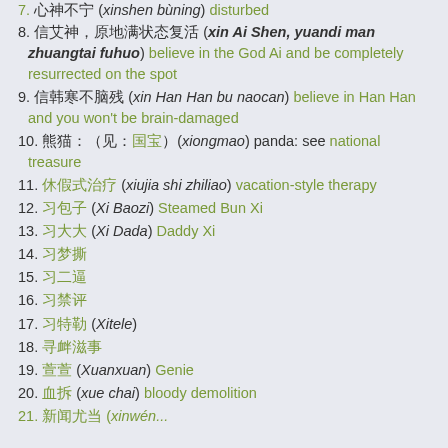7. (xinshén bùning) disturbed
8. 信艾神，原地满状态复活 (xin Ai Shen, yuandi man zhuangtai fuhuo) believe in the God Ai and be completely resurrected on the spot
9. 信韩寒不脑残 (xin Han Han bu naocan) believe in Han Han and you won't be brain-damaged
10. 熊猫：（见：国宝）(xiongmao) panda: see national treasure
11. 休假式治疗 (xiujia shi zhiliao) vacation-style therapy
12. 习包子 (Xi Baozi) Steamed Bun Xi
13. 习大大 (Xi Dada) Daddy Xi
14. 习梦撕
15. 习二逼
16. 习禁评
17. 习特勒 (Xitele)
18. 寻衅滋事
19. 萱萱 (Xuanxuan) Genie
20. 血拆 (xue chai) bloody demolition
21. 新闻尤当 (xinwén...